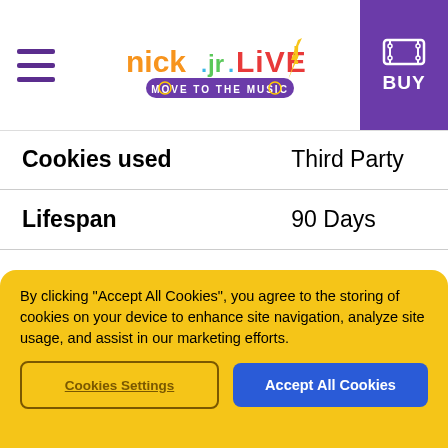[Figure (logo): Nick Jr. Live! Move to the Music logo with colorful text]
| Cookies used | Third Party |
| Lifespan | 90 Days |
| Cookie Subgroup | yahoo.com |
| Cookies | A3, B |
| Cookies used | Third Party |
By clicking "Accept All Cookies", you agree to the storing of cookies on your device to enhance site navigation, analyze site usage, and assist in our marketing efforts.
Cookies Settings | Accept All Cookies